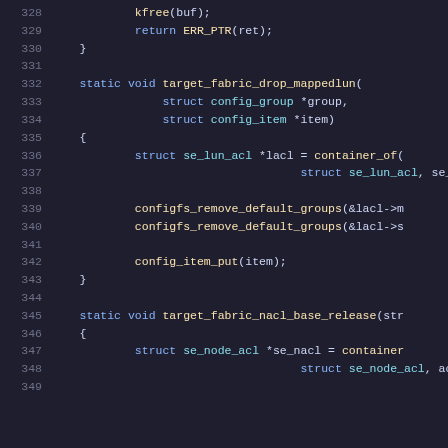[Figure (screenshot): Source code listing in a dark-themed code editor showing C kernel code, lines 328-349, including functions target_fabric_drop_mappedlun and target_fabric_nacl_base_release with syntax highlighting.]